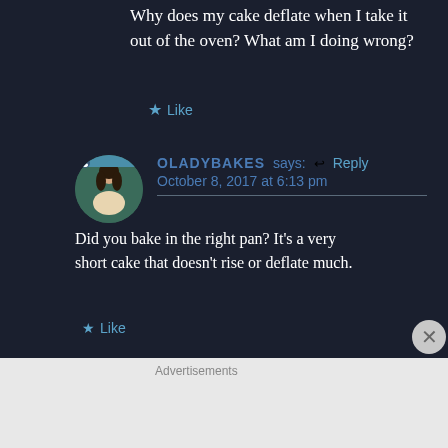Why does my cake deflate when I take it out of the oven? What am I doing wrong?
★ Like
OLADYBAKES says: ↩ Reply
October 8, 2017 at 6:13 pm
Did you bake in the right pan? It's a very short cake that doesn't rise or deflate much.
★ Like
Advertisements